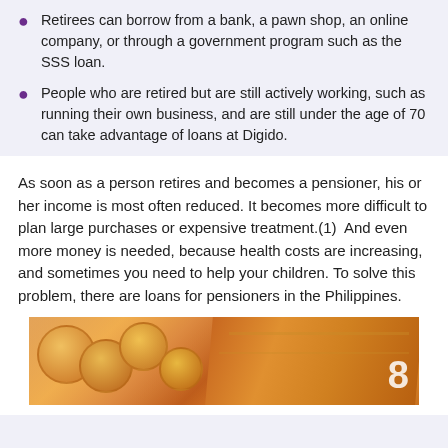Retirees can borrow from a bank, a pawn shop, an online company, or through a government program such as the SSS loan.
People who are retired but are still actively working, such as running their own business, and are still under the age of 70 can take advantage of loans at Digido.
As soon as a person retires and becomes a pensioner, his or her income is most often reduced. It becomes more difficult to plan large purchases or expensive treatment.(1)  And even more money is needed, because health costs are increasing, and sometimes you need to help your children. To solve this problem, there are loans for pensioners in the Philippines.
[Figure (photo): Close-up photo of gold coins and paper currency, warm orange/golden tones, with a large number '8' visible on a banknote in the lower right.]